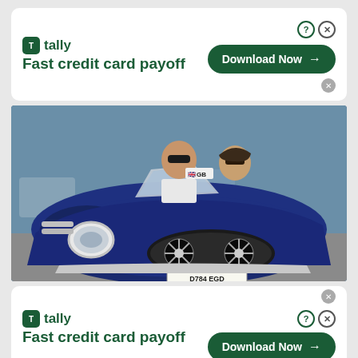[Figure (screenshot): Top Tally finance app advertisement banner. Shows Tally logo (green square icon with T), 'tally' name in green, 'Fast credit card payoff' tagline in bold green, and a green 'Download Now →' button. Ad control icons (question mark circle and X) in top right. Small X close button below.]
[Figure (photo): Photograph of two people riding in a vintage blue open-top sports car (appears to be an AC Cobra replica with GB license plate D784 EGD). The driver is a man wearing sunglasses and the passenger is a woman. The car has chrome details, an oval air intake, and a visible headlight.]
[Figure (screenshot): Bottom Tally finance app advertisement banner (same as top). Shows Tally logo (green square icon with T), 'tally' name in green, 'Fast credit card payoff' tagline in bold green, and a green 'Download Now →' button. Ad control icons (question mark circle and X) in top right. Small X close button above.]